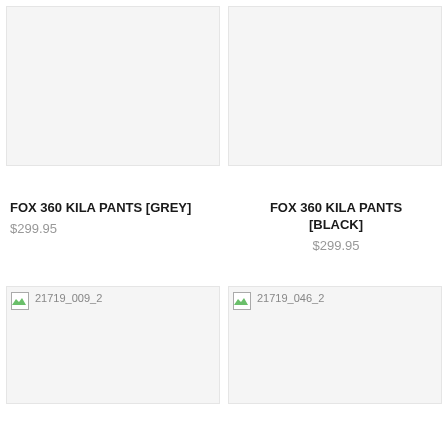[Figure (photo): Product image placeholder for FOX 360 KILA PANTS GREY - light grey background, top-left product]
[Figure (photo): Product image placeholder for FOX 360 KILA PANTS BLACK - light grey background, top-right product]
FOX 360 KILA PANTS [GREY]
$299.95
FOX 360 KILA PANTS [BLACK]
$299.95
[Figure (photo): Product image placeholder labeled 21719_009_2 - bottom-left product]
[Figure (photo): Product image placeholder labeled 21719_046_2 - bottom-right product]